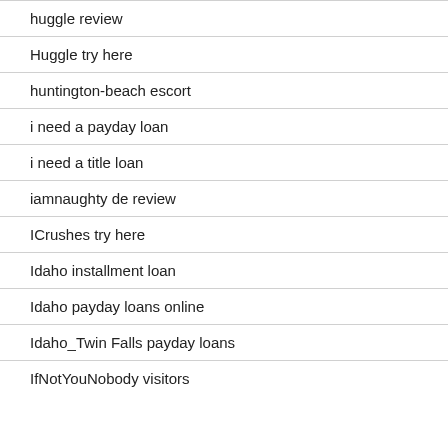huggle review
Huggle try here
huntington-beach escort
i need a payday loan
i need a title loan
iamnaughty de review
ICrushes try here
Idaho installment loan
Idaho payday loans online
Idaho_Twin Falls payday loans
IfNotYouNobody visitors